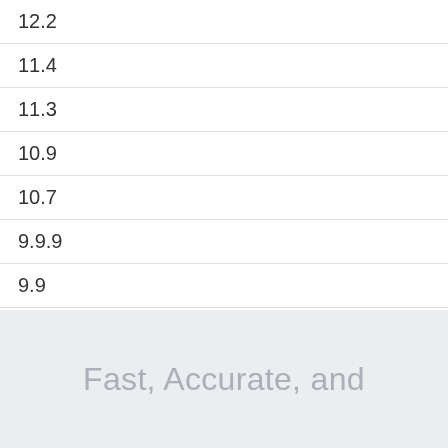| 12.2 |
| 11.4 |
| 11.3 |
| 10.9 |
| 10.7 |
| 9.9.9 |
| 9.9 |
| 9.5 |
Fast, Accurate, and